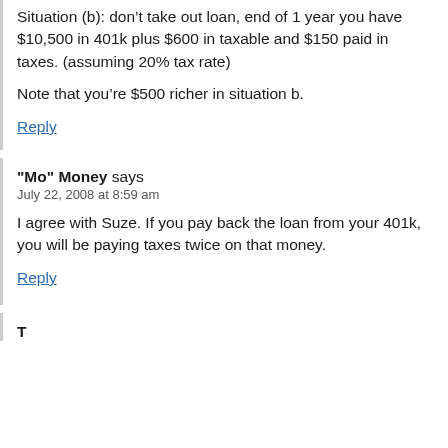Situation (b): don't take out loan, end of 1 year you have $10,500 in 401k plus $600 in taxable and $150 paid in taxes. (assuming 20% tax rate)
Note that you're $500 richer in situation b.
Reply
"Mo" Money says
July 22, 2008 at 8:59 am
I agree with Suze. If you pay back the loan from your 401k, you will be paying taxes twice on that money.
Reply